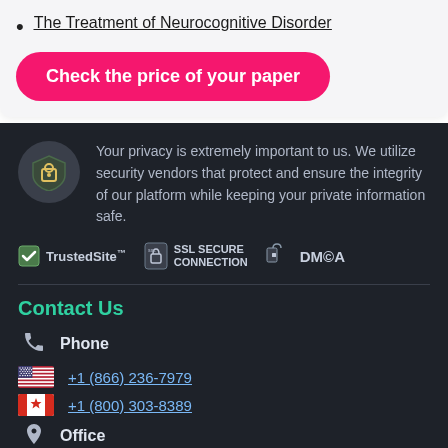The Treatment of Neurocognitive Disorder
Check the price of your paper
Your privacy is extremely important to us. We utilize security vendors that protect and ensure the integrity of our platform while keeping your private information safe.
[Figure (infographic): Trust badges: TrustedSite, SSL SECURE CONNECTION, DMCA]
Contact Us
Phone
+1 (866) 236-7979
+1 (800) 303-8389
Office